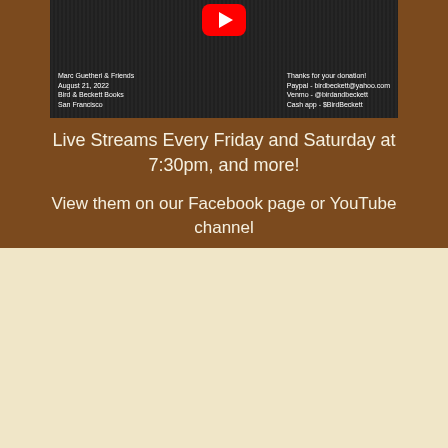[Figure (photo): YouTube video screenshot of Marc Guetheri & Friends live performance at Bird & Beckett Books, San Francisco, August 21, 2022, with YouTube play button overlay and donation info]
Live Streams Every Friday and Saturday at 7:30pm, and more!
View them on our Facebook page or YouTube channel
[Figure (photo): Blue Note Records album cover: Curtain Call by Hank Mobley featuring Sonny Clark, Blue Note 1611, showing musician playing saxophone in black and white]